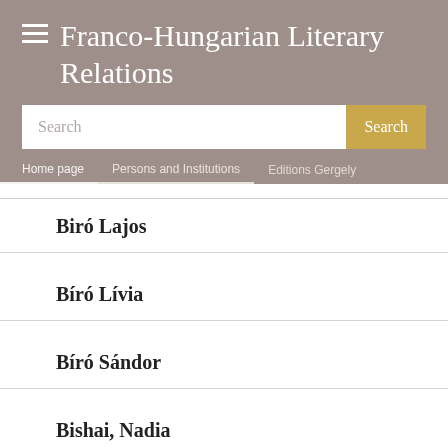Franco-Hungarian Literary Relations
Search | Home page | Persons and Institutions | Editions Gergely
Biró Lajos
Bíró Lívia
Bíró Sándor
Bishai, Nadia